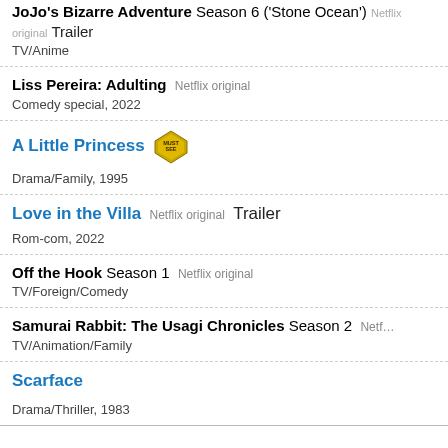JoJo's Bizarre Adventure Season 6 ('Stone Ocean') Netflix original Trailer
TV/Anime
Liss Pereira: Adulting Netflix original
Comedy special, 2022
A Little Princess [MUST-SEE badge]
Drama/Family, 1995
Love in the Villa Netflix original Trailer
Rom-com, 2022
Off the Hook Season 1 Netflix original
TV/Foreign/Comedy
Samurai Rabbit: The Usagi Chronicles Season 2 Netflix original
TV/Animation/Family
Scarface
Drama/Thriller, 1983